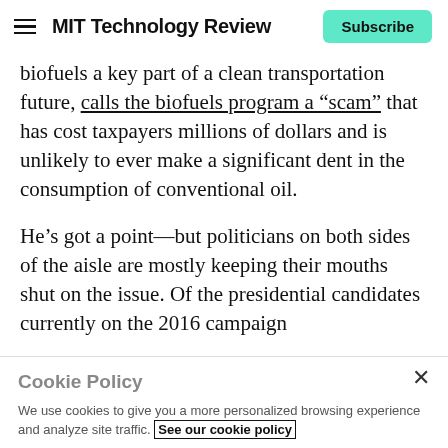MIT Technology Review | Subscribe
biofuels a key part of a clean transportation future, calls the biofuels program a “scam” that has cost taxpayers millions of dollars and is unlikely to ever make a significant dent in the consumption of conventional oil.
He’s got a point—but politicians on both sides of the aisle are mostly keeping their mouths shut on the issue. Of the presidential candidates currently on the 2016 campaign
Cookie Policy
We use cookies to give you a more personalized browsing experience and analyze site traffic. See our cookie policy
Accept all cookies
Cookies settings